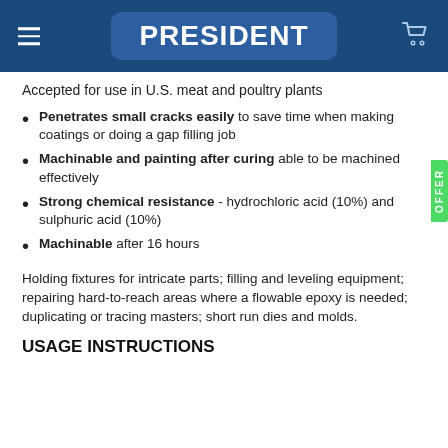PRESIDENT
Accepted for use in U.S. meat and poultry plants
Penetrates small cracks easily to save time when making coatings or doing a gap filling job
Machinable and painting after curing able to be machined effectively
Strong chemical resistance - hydrochloric acid (10%) and sulphuric acid (10%)
Machinable after 16 hours
Holding fixtures for intricate parts; filling and leveling equipment; repairing hard-to-reach areas where a flowable epoxy is needed; duplicating or tracing masters; short run dies and molds.
USAGE INSTRUCTIONS